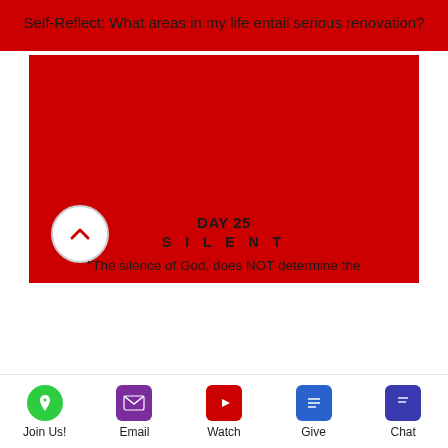Self-Reflect: What areas in my life entail serious renovation?
[Figure (other): Large red rectangle area with scroll-up button, Day 25 label, SILENT label, and partial quote text]
DAY 25
SILENT
"The silence of God, does NOT determine the
Join Us! | Email | Watch | Give | Chat